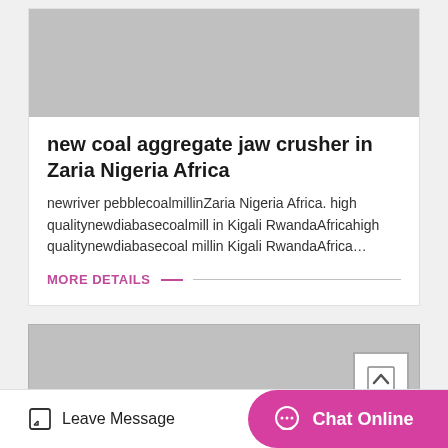[Figure (photo): Gray placeholder image at top of card]
new coal aggregate jaw crusher in Zaria Nigeria Africa
newriver pebblecoalmillinZaria Nigeria Africa. high qualitynewdiabasecoalmill in Kigali RwandaAfricahigh qualitynewdiabasecoal millin Kigali RwandaAfrica…
MORE DETAILS
[Figure (photo): Second gray placeholder image card]
Leave Message
Chat Online